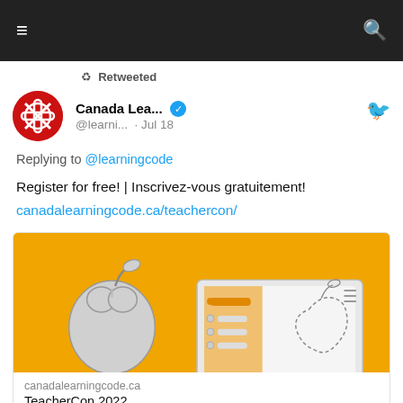≡  🔍
Retweeted
Canada Lea... @learni... · Jul 18
Replying to @learningcode
Register for free! | Inscrivez-vous gratuitement! canadalearningcode.ca/teachercon/
[Figure (illustration): Promotional image for TeacherCon 2022 on orange background showing an illustrated apple and a laptop with an apple outline on the screen]
canadalearningcode.ca
TeacherCon 2022